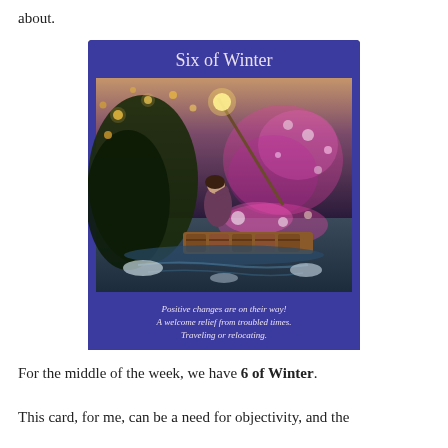about.
[Figure (illustration): Tarot card titled 'Six of Winter' with a purple/blue header. The card shows a figure in a boat on turbulent water, holding a long pole with a glowing lantern. The scene is magical with pink sparkling lights and floating lanterns. At the bottom of the card in italic text: 'Positive changes are on their way! A welcome relief from troubled times. Traveling or relocating.']
For the middle of the week, we have 6 of Winter.
This card, for me, can be a need for objectivity, and the